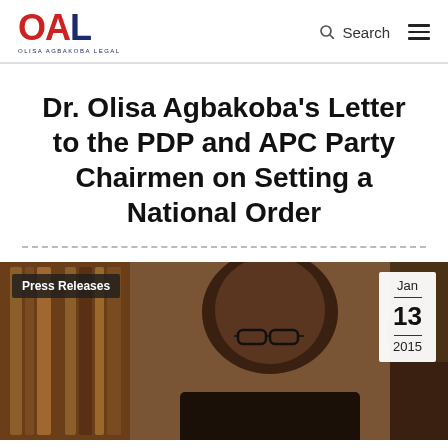OAL — Olisa Agbakoba Legal | Search | Menu
Dr. Olisa Agbakoba's Letter to the PDP and APC Party Chairmen on Setting a National Order
[Figure (photo): Photo of Dr. Olisa Agbakoba (a man wearing glasses) with 'Press Releases' badge overlay and date badge showing Jan 13 2015 in the top-right corner.]